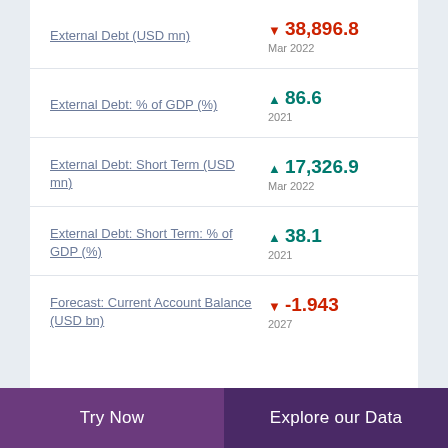External Debt (USD mn)
External Debt: % of GDP (%)
External Debt: Short Term (USD mn)
External Debt: Short Term: % of GDP (%)
Forecast: Current Account Balance (USD bn)
Try Now | Explore our Data